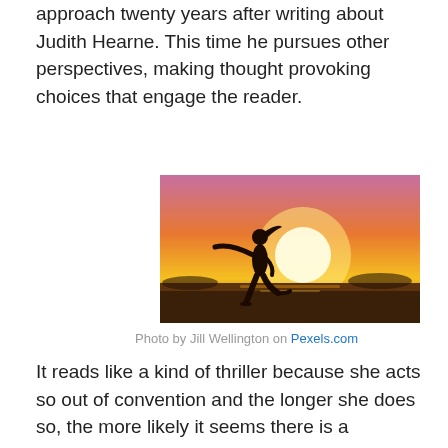approach twenty years after writing about Judith Hearne. This time he pursues other perspectives, making thought provoking choices that engage the reader.
[Figure (photo): Silhouette of a person dancing or jumping on a beach at sunset, arms outstretched, with a large bright sun in the background and warm orange and pink sky.]
Photo by Jill Wellington on Pexels.com
It reads like a kind of thriller because she acts so out of convention and the longer she does so, the more likely it seems there is a possibility she might indeed be upending her life. The reader can feel she is hovering between two